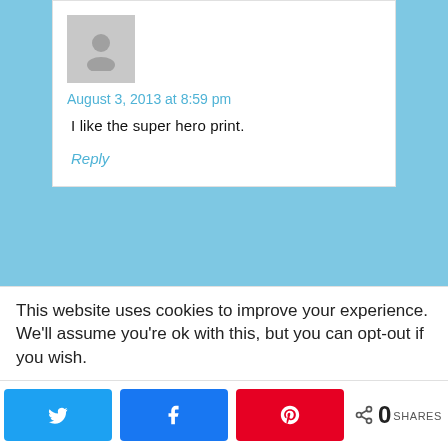August 3, 2013 at 8:59 pm
I like the super hero print.
Reply
Mihaela D. says
This website uses cookies to improve your experience. We'll assume you're ok with this, but you can opt-out if you wish.
0 SHARES